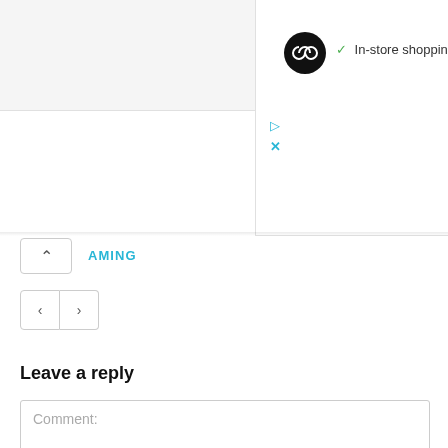[Figure (screenshot): Top section showing a black circular logo with infinity-like symbol and 'In-store shopping' text with a green checkmark, plus ad icons (play and X) in blue]
AMING
[Figure (screenshot): Navigation arrows: chevron-up button on left, and left/right navigation buttons below]
Leave a reply
Comment: